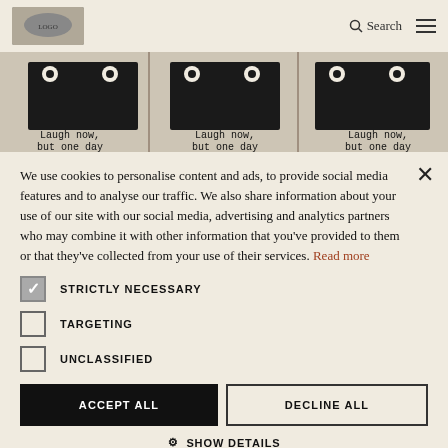Search [navigation]
[Figure (photo): Banksy 'Laugh Now' artwork showing monkey figures in suits repeated in a strip, with text 'Laugh now, but one day']
We use cookies to personalise content and ads, to provide social media features and to analyse our traffic. We also share information about your use of our site with our social media, advertising and analytics partners who may combine it with other information that you've provided to them or that they've collected from your use of their services. Read more
STRICTLY NECESSARY
TARGETING
UNCLASSIFIED
ACCEPT ALL
DECLINE ALL
SHOW DETAILS